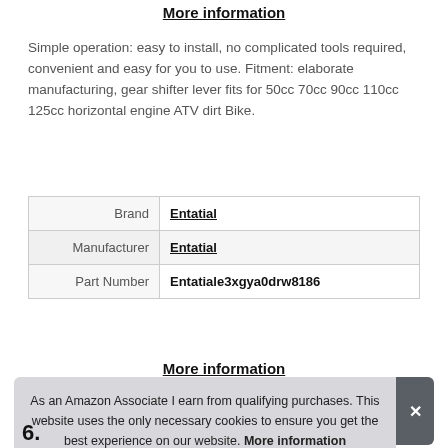More information
Simple operation: easy to install, no complicated tools required, convenient and easy for you to use. Fitment: elaborate manufacturing, gear shifter lever fits for 50cc 70cc 90cc 110cc 125cc horizontal engine ATV dirt Bike.
|  |  |
| --- | --- |
| Brand | Entatial |
| Manufacturer | Entatial |
| Part Number | Entatiale3xgya0drw8186 |
More information
As an Amazon Associate I earn from qualifying purchases. This website uses the only necessary cookies to ensure you get the best experience on our website. More information